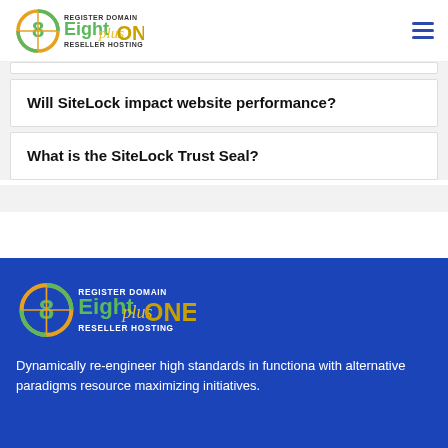EightPlusOne — Register Domain Reseller Hosting
Will SiteLock impact website performance?
What is the SiteLock Trust Seal?
[Figure (logo): EightPlusOne logo with Register Domain Reseller Hosting text in footer]
Dynamically re-engineer high standards in functiona with alternative paradigms resource maximizing initiatives.